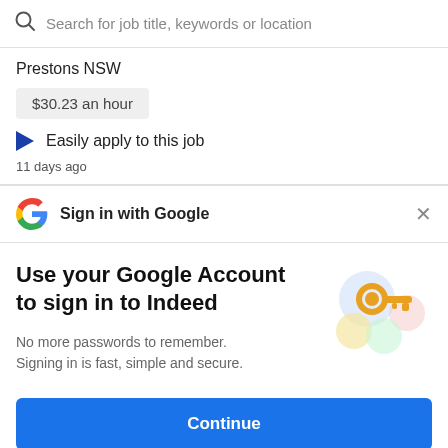Search for job title, keywords or location
Prestons NSW
$30.23 an hour
Easily apply to this job
11 days ago
Sign in with Google
Use your Google Account to sign in to Indeed
No more passwords to remember. Signing in is fast, simple and secure.
[Figure (illustration): Colorful illustration of a key with circular icons representing Google sign-in security]
Continue